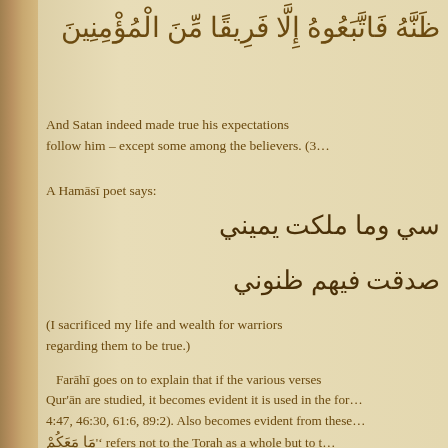ظَنَّهُ فَاتَّبَعُوهُ إِلَّا فَرِيقًا مِّنَ الْمُؤْمِنِينَ
And Satan indeed made true his expectations concerning them, so they follow him – except some among the believers. (3…)
A Hamāsī poet says:
سي وما ملكت يميني
صدقت فيهم ظنوني
(I sacrificed my life and wealth for warriors … regarding them to be true.)
Farāhī goes on to explain that if the various verses … Qur'ān are studied, it becomes evident it is used in the for… 4:47, 46:30, 61:6, 89:2). Also becomes evident from these… 'مَا مَعَكُمْ' refers not to the Torah as a whole but to t… predictions of the advent of the Prophet Muhammad (sws)…